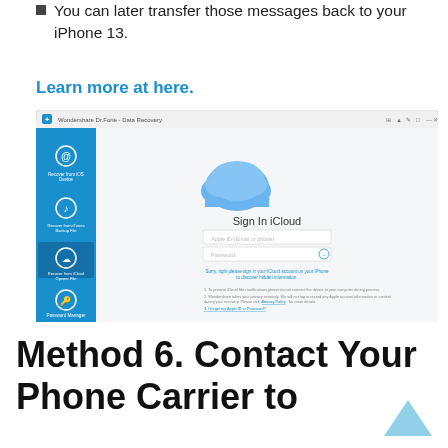You can later transfer those messages back to your iPhone 13.
Learn more at here.
[Figure (screenshot): Screenshot of Wondershare Dr.Fone - Data Recovery application showing the Sign In iCloud screen with Apple ID and password fields, iCloud logo at top, and left sidebar with recovery options.]
Method 6. Contact Your Phone Carrier to